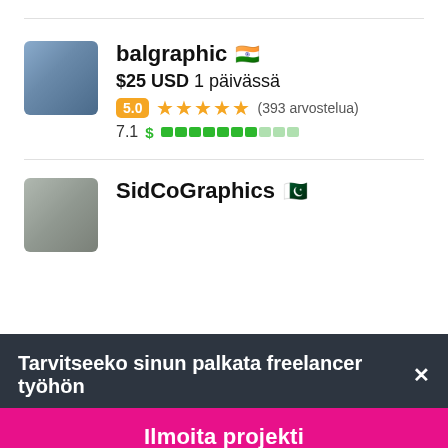[Figure (photo): Profile photo of balgraphic, a man with glasses outdoors]
balgraphic 🇮🇳
$25 USD 1 päivässä
5.0 ★★★★★ (393 arvostelua)
7.1 $ ████████░░░
[Figure (photo): Profile photo of SidCoGraphics]
SidCoGraphics 🇵🇰
Tarvitseeko sinun palkata freelancer työhön✕
Ilmoita projekti